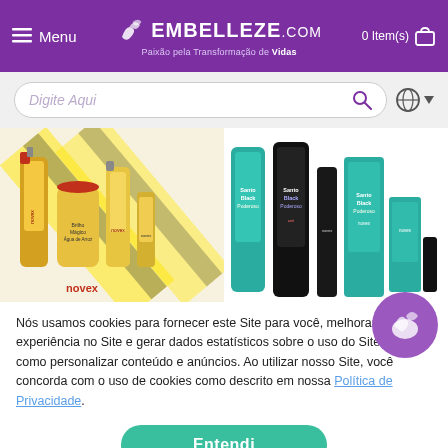Menu | EMBELLEZE.COM | Paixão pela Transformação de Vidas | 0 Item(s)
[Figure (screenshot): Search bar with placeholder 'Digite Aqui', search icon, globe icon and dropdown arrow]
[Figure (photo): Two product groupings: left side shows Novex Brilho Mágico Água de Arroz hair products (sprays, cream jars) with yellow and black packaging; right side shows Novex Santo Black Poderoso hair products in dark packaging with teal/green boxes]
Nós usamos cookies para fornecer este Site para você, melhorar sua experiência no Site e gerar dados estatísticos sobre o uso do Site, bem como personalizar conteúdo e anúncios. Ao utilizar nosso Site, você concorda com o uso de cookies como descrito em nossa Política de Privacidade.
Entendi